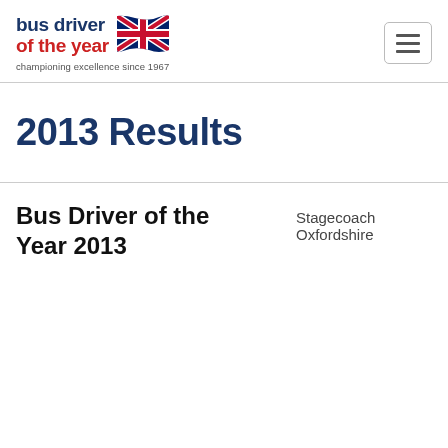[Figure (logo): Bus Driver of the Year logo with UK flag and tagline 'championing excellence since 1967']
2013 Results
Bus Driver of the Year 2013
Stagecoach Oxfordshire